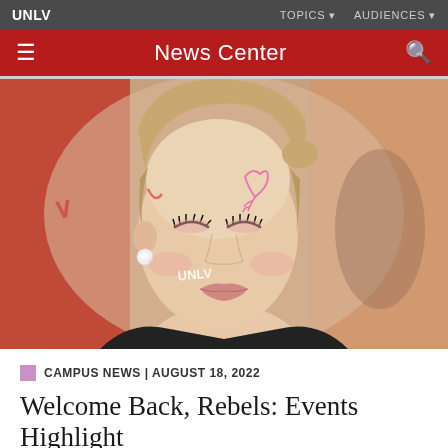UNLV | TOPICS | AUDIENCES
News Center
[Figure (photo): Young woman with UNLV face paint and floral design on her forehead, eyes closed, smiling, wearing a black top and pearl earring, with red and orange blurred background]
CAMPUS NEWS | AUGUST 18, 2022
Welcome Back, Rebels: Events Highlight